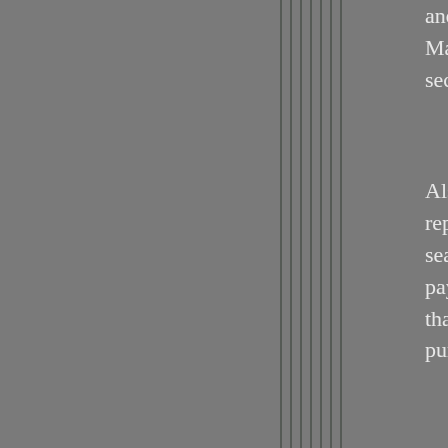and other persons which may not. Make sure you use a site using a secure. You will probably want to
Also to safety measures, you will repayment for you. You will need t search while not having to supply payments firmly and quickly. If yo that uses PayPal as their method purpose.
There is almost nothing worse tha across end up thai woman in the e provided. This is embarrassing an this kind of to happen whatsoever This is why it is vital that you do a interested in.
The best way to learn about the d Reading these testimonials will gi site. You should look for custome